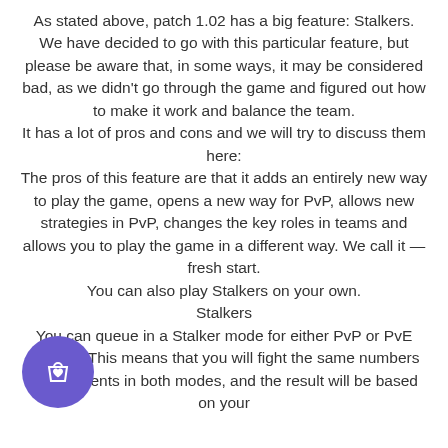As stated above, patch 1.02 has a big feature: Stalkers. We have decided to go with this particular feature, but please be aware that, in some ways, it may be considered bad, as we didn't go through the game and figured out how to make it work and balance the team. It has a lot of pros and cons and we will try to discuss them here: The pros of this feature are that it adds an entirely new way to play the game, opens a new way for PvP, allows new strategies in PvP, changes the key roles in teams and allows you to play the game in a different way. We call it — fresh start. You can also play Stalkers on your own. Stalkers You can queue in a Stalker mode for either PvP or PvE content. This means that you will fight the same numbers of opponents in both modes, and the result will be based on your
[Figure (illustration): Purple circular shopping bag icon with a heart, positioned bottom-left]